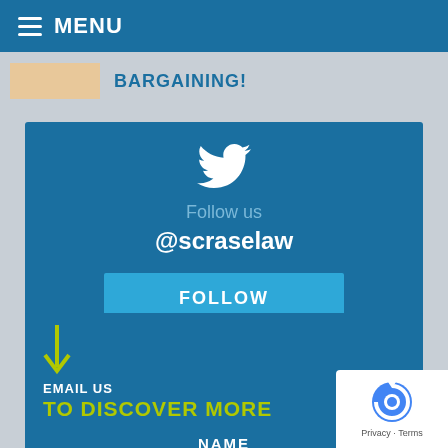MENU
BARGAINING!
[Figure (infographic): Twitter follow widget with bird icon, 'Follow us', '@scraselaw' handle, and FOLLOW button on dark blue background]
EMAIL US
TO DISCOVER MORE
NAME
[Figure (other): Google reCAPTCHA badge with logo, Privacy and Terms text]